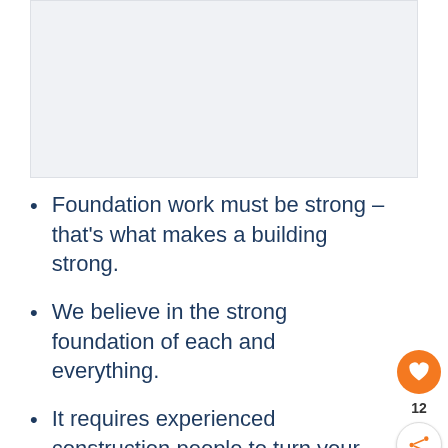[Figure (photo): Placeholder image area at the top of the page, light gray background]
Foundation work must be strong – that's what makes a building strong.
We believe in the strong foundation of each and everything.
It requires experienced construction people to turn your dream into reality.